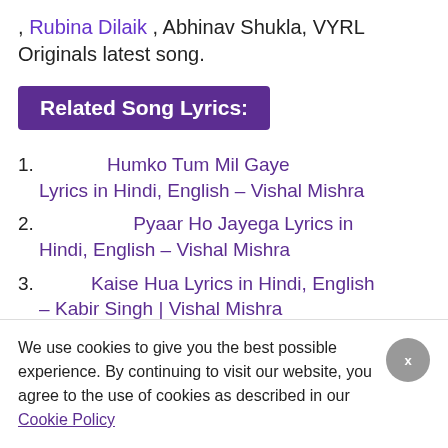, Rubina Dilaik , Abhinav Shukla, VYRL Originals latest song.
Related Song Lyrics:
Humko Tum Mil Gaye Lyrics in Hindi, English – Vishal Mishra
Pyaar Ho Jayega Lyrics in Hindi, English – Vishal Mishra
Kaise Hua Lyrics in Hindi, English – Kabir Singh | Vishal Mishra
We use cookies to give you the best possible experience. By continuing to visit our website, you agree to the use of cookies as described in our Cookie Policy